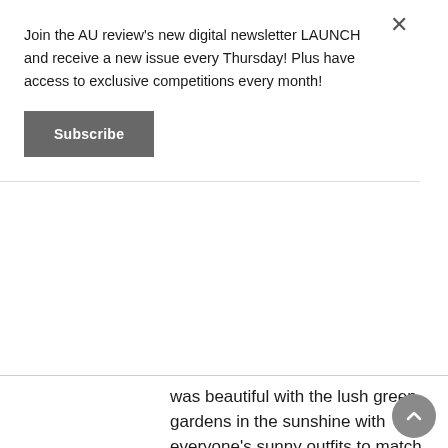Join the AU review's new digital newsletter LAUNCH and receive a new issue every Thursday! Plus have access to exclusive competitions every month!
Subscribe
was beautiful with the lush green gardens in the sunshine with everyone's sunny outfits to match. Starting early was Mallrat looking super cute in a green baby dress with the moves to […]
READ MORE
[Figure (photo): Dark photo with silhouettes of crowd and a circular logo reading 'THE AU REVIEW .COM']
Our top picks for the home stretch of Melbourne Music Week 2017
November 21, 2017
Until the 25th of November, Melbourne